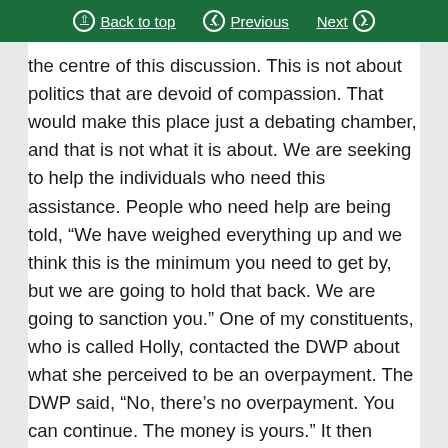Back to top | Previous | Next
the centre of this discussion. This is not about politics that are devoid of compassion. That would make this place just a debating chamber, and that is not what it is about. We are seeking to help the individuals who need this assistance. People who need help are being told, “We have weighed everything up and we think this is the minimum you need to get by, but we are going to hold that back. We are going to sanction you.” One of my constituents, who is called Holly, contacted the DWP about what she perceived to be an overpayment. The DWP said, “No, there’s no overpayment. You can continue. The money is yours.” It then decided that there had been an overpayment. She has now been sanctioned and is not entitled to any money until she has repaid